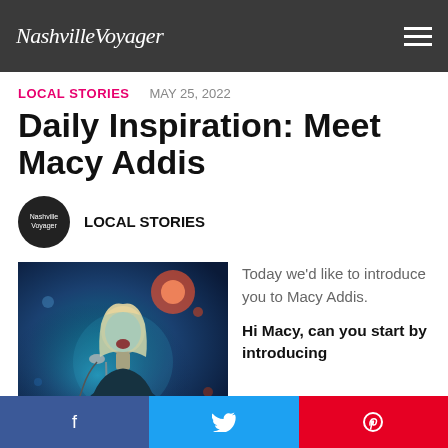NashvilleVoyager
LOCAL STORIES   MAY 25, 2022
Daily Inspiration: Meet Macy Addis
LOCAL STORIES
[Figure (photo): Singer performing on stage with microphone under blue stage lighting, blonde hair, dark background]
Today we'd like to introduce you to Macy Addis.
Hi Macy, can you start by introducing